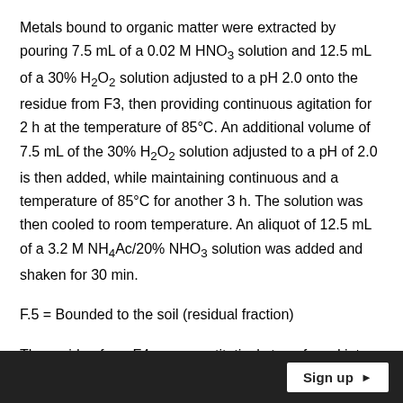Metals bound to organic matter were extracted by pouring 7.5 mL of a 0.02 M HNO3 solution and 12.5 mL of a 30% H2O2 solution adjusted to a pH 2.0 onto the residue from F3, then providing continuous agitation for 2 h at the temperature of 85°C. An additional volume of 7.5 mL of the 30% H2O2 solution adjusted to a pH of 2.0 is then added, while maintaining continuous and a temperature of 85°C for another 3 h. The solution was then cooled to room temperature. An aliquot of 12.5 mL of a 3.2 M NH4Ac/20% NHO3 solution was added and shaken for 30 min.
F.5 = Bounded to the soil (residual fraction)
The residue from F4 was quantitatively transferred into a digestion vessel and metals were dissolved in aqua regia using 7 mL of 10 M
Sign up